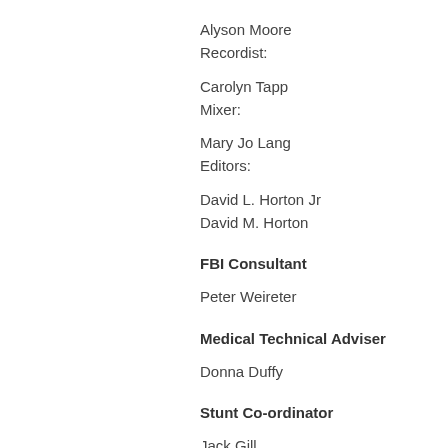Alyson Moore
Recordist:
Carolyn Tapp
Mixer:
Mary Jo Lang
Editors:
David L. Horton Jr
David M. Horton
FBI Consultant
Peter Weireter
Medical Technical Adviser
Donna Duffy
Stunt Co-ordinator
Jack Gill
Animal Action
Boone's Animals for Hollywood
Head Trainer:
David Allsberry